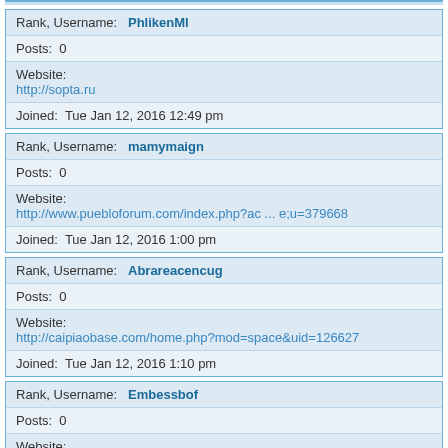Rank, Username: PhlikenMl
Posts: 0
Website: http://sopta.ru
Joined: Tue Jan 12, 2016 12:49 pm
Rank, Username: mamymaign
Posts: 0
Website: http://www.puebloforum.com/index.php?ac ... e;u=379668
Joined: Tue Jan 12, 2016 1:00 pm
Rank, Username: Abrareacencug
Posts: 0
Website: http://caipiaobase.com/home.php?mod=space&uid=126627
Joined: Tue Jan 12, 2016 1:10 pm
Rank, Username: Embessbof
Posts: 0
Website: http://www.zxauto.com.cn/en/forum/home. ... &uid=15923
Joined: Tue Jan 12, 2016 1:44 pm